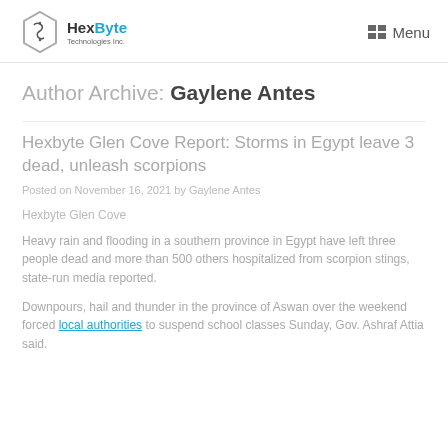HexByte Technologies Inc. | Menu
Author Archive: Gaylene Antes
Hexbyte Glen Cove Report: Storms in Egypt leave 3 dead, unleash scorpions
Posted on November 16, 2021 by Gaylene Antes
Hexbyte Glen Cove
Heavy rain and flooding in a southern province in Egypt have left three people dead and more than 500 others hospitalized from scorpion stings, state-run media reported.
Downpours, hail and thunder in the province of Aswan over the weekend forced local authorities to suspend school classes Sunday, Gov. Ashraf Attia said.